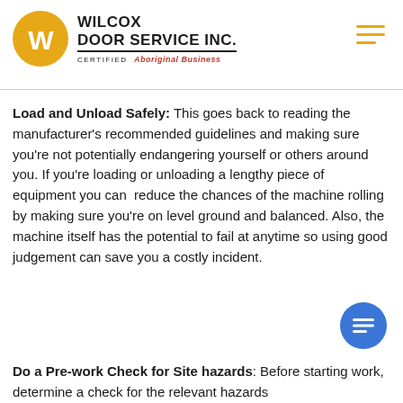[Figure (logo): Wilcox Door Service Inc. logo with orange circle containing white W, company name in bold black uppercase, underline, and 'CERTIFIED Aboriginal Business' tagline]
Load and Unload Safely: This goes back to reading the manufacturer's recommended guidelines and making sure you're not potentially endangering yourself or others around you. If you're loading or unloading a lengthy piece of equipment you can reduce the chances of the machine rolling by making sure you're on level ground and balanced. Also, the machine itself has the potential to fail at anytime so using good judgement can save you a costly incident.
Do a Pre-work Check for Site hazards: Before starting work...